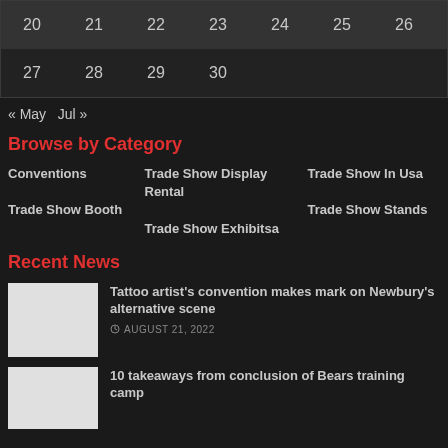| 20 | 21 | 22 | 23 | 24 | 25 | 26 |
| 27 | 28 | 29 | 30 |  |  |  |
« May  Jul »
Browse by Category
Conventions
Trade Show Booth
Trade Show Display Rental
Trade Show Exhibitsa
Trade Show In Usa
Trade Show Stands
Recent News
Tattoo artist's convention makes mark on Newbury's alternative scene
AUGUST 21, 2022
10 takeaways from conclusion of Bears training camp